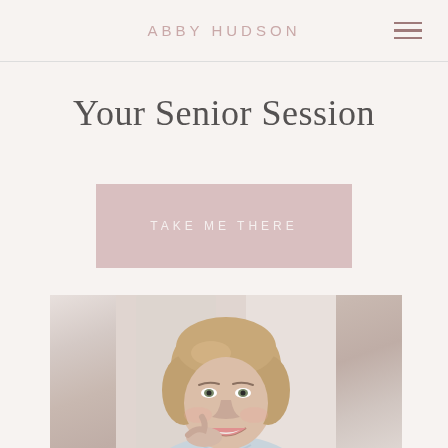ABBY HUDSON
Your Senior Session
TAKE ME THERE
[Figure (photo): Portrait photo of a smiling middle-aged woman with short wavy blonde hair, resting her hand near her face, in a bright indoor setting]